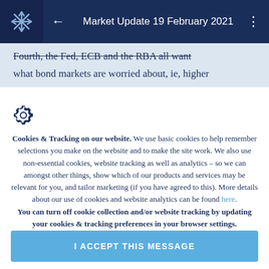Market Update 19 February 2021
Fourth, the Fed, ECB and the RBA all want what bond markets are worried about, ie, higher
Cookies & Tracking on our website.  We use basic cookies to help remember selections you make on the website and to make the site work. We also use non-essential cookies, website tracking as well as analytics – so we can amongst other things, show which of our products and services may be relevant for you, and tailor marketing (if you have agreed to this). More details about our use of cookies and website analytics can be found here.
You can turn off cookie collection and/or website tracking by updating your cookies & tracking preferences in your browser settings.
I ACCEPT THIS MESSAGE